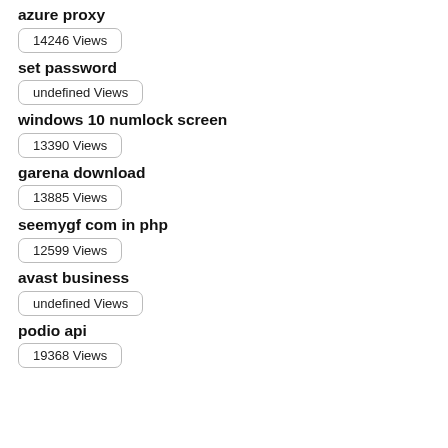azure proxy
14246 Views
set password
undefined Views
windows 10 numlock screen
13390 Views
garena download
13885 Views
seemygf com in php
12599 Views
avast business
undefined Views
podio api
19368 Views